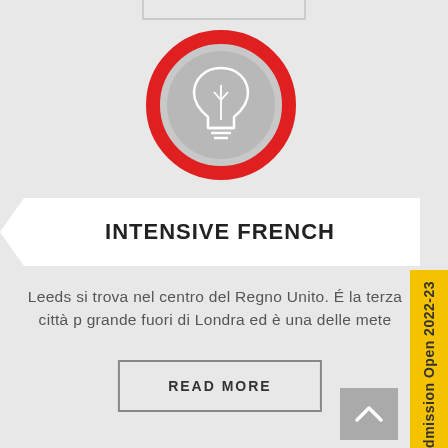[Figure (illustration): A lightbulb icon inside a grey circle with a thick red ring border]
INTENSIVE FRENCH
Leeds si trova nel centro del Regno Unito. É la terza città p grande fuori di Londra ed è una delle mete
READ MORE
Admission Open 2022-23